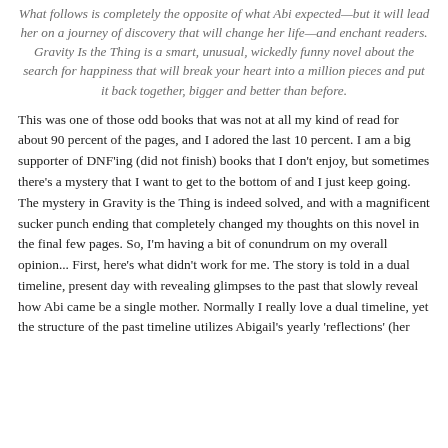What follows is completely the opposite of what Abi expected—but it will lead her on a journey of discovery that will change her life—and enchant readers. Gravity Is the Thing is a smart, unusual, wickedly funny novel about the search for happiness that will break your heart into a million pieces and put it back together, bigger and better than before.
This was one of those odd books that was not at all my kind of read for about 90 percent of the pages, and I adored the last 10 percent. I am a big supporter of DNF'ing (did not finish) books that I don't enjoy, but sometimes there's a mystery that I want to get to the bottom of and I just keep going. The mystery in Gravity is the Thing is indeed solved, and with a magnificent sucker punch ending that completely changed my thoughts on this novel in the final few pages. So, I'm having a bit of conundrum on my overall opinion... First, here's what didn't work for me. The story is told in a dual timeline, present day with revealing glimpses to the past that slowly reveal how Abi came be a single mother. Normally I really love a dual timeline, yet the structure of the past timeline utilizes Abigail's yearly 'reflections' (her